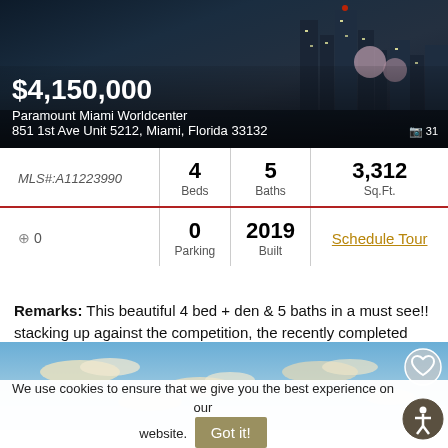[Figure (photo): Night cityscape of Miami with illuminated skyscrapers and spherical structures]
$4,150,000
Paramount Miami Worldcenter
851 1st Ave Unit 5212, Miami, Florida 33132
| MLS#:A11223990 | 4 Beds | 5 Baths | 3,312 Sq.Ft. |
| 0 | 0 Parking | 2019 Built | Schedule Tour |
Remarks: This beautiful 4 bed + den & 5 baths in a must see!! stacking up against the competition, the recently completed paramount miami w...
[Figure (photo): Blue sky with scattered clouds, property exterior photo]
We use cookies to ensure that we give you the best experience on our website.